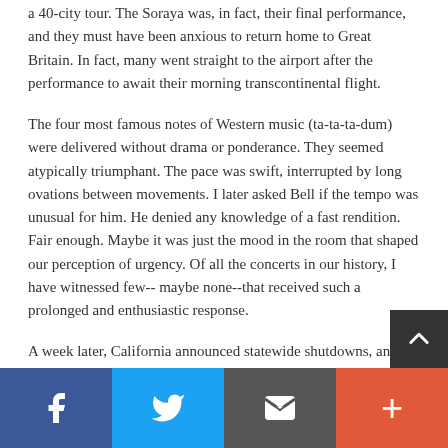a 40-city tour. The Soraya was, in fact, their final performance, and they must have been anxious to return home to Great Britain. In fact, many went straight to the airport after the performance to await their morning transcontinental flight.
The four most famous notes of Western music (ta-ta-ta-dum) were delivered without drama or ponderance. They seemed atypically triumphant. The pace was swift, interrupted by long ovations between movements. I later asked Bell if the tempo was unusual for him. He denied any knowledge of a fast rendition. Fair enough. Maybe it was just the mood in the room that shaped our perception of urgency. Of all the concerts in our history, I have witnessed few--maybe none--that received such a prolonged and enthusiastic response.
A week later, California announced statewide shutdowns, and Los Angeles County announced shelter-in-place measures. It became clear that Beethoven's Fifth would be our final performance in the Great Hall. On March 20, after sending home The Soraya's staff for the last time, I took a final lap around The Soraya making sure everything was secure. A final step on the stage conjured hundreds...